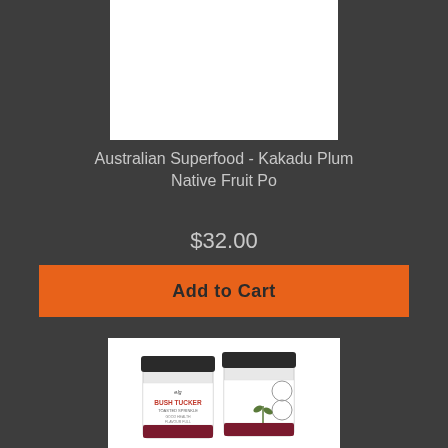[Figure (photo): White product image box at top (partially cut off product photo)]
Australian Superfood - Kakadu Plum Native Fruit Po
$32.00
Add to Cart
[Figure (photo): Product photo of two small glass jars with black lids labeled 'elg BUSH TUCKER TOASTED SPRINKLE' with a dark red band at the bottom, shown against a white background]